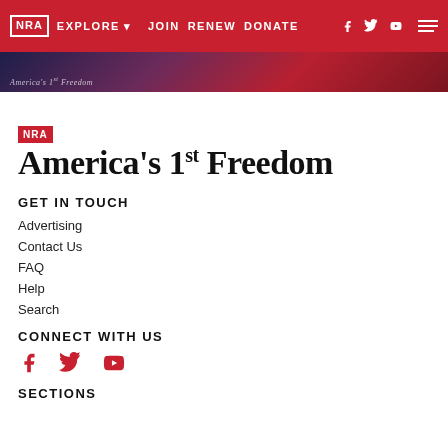NRA EXPLORE JOIN RENEW DONATE [facebook] [twitter] [youtube] [menu]
[Figure (screenshot): NRA America's 1st Freedom navigation banner with gradient background of dark navy, purple, dark red]
[Figure (logo): NRA America's 1st Freedom logo — NRA badge in red box above large serif text reading America's 1st Freedom]
GET IN TOUCH
Advertising
Contact Us
FAQ
Help
Search
CONNECT WITH US
[Figure (other): Social media icons: Facebook, Twitter, YouTube in red]
SECTIONS